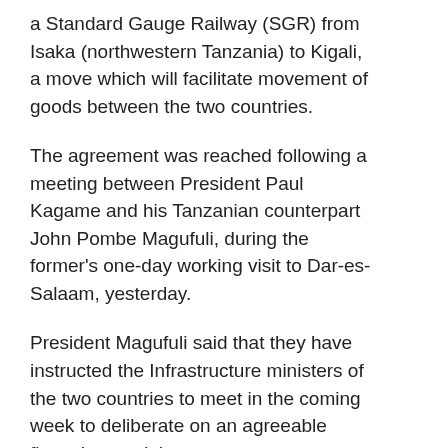a Standard Gauge Railway (SGR) from Isaka (northwestern Tanzania) to Kigali, a move which will facilitate movement of goods between the two countries.
The agreement was reached following a meeting between President Paul Kagame and his Tanzanian counterpart John Pombe Magufuli, during the former's one-day working visit to Dar-es-Salaam, yesterday.
President Magufuli said that they have instructed the Infrastructure ministers of the two countries to meet in the coming week to deliberate on an agreeable financing model.
...
The meeting between the ministers will, among other aspects, consider the financing models of the project before a tender announcement for the project is issued.